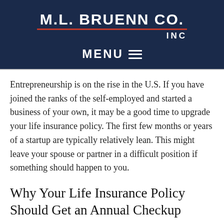M.L. BRUENN CO. INC
Entrepreneurship is on the rise in the U.S. If you have joined the ranks of the self-employed and started a business of your own, it may be a good time to upgrade your life insurance policy. The first few months or years of a startup are typically relatively lean. This might leave your spouse or partner in a difficult position if something should happen to you.
Why Your Life Insurance Policy Should Get an Annual Checkup